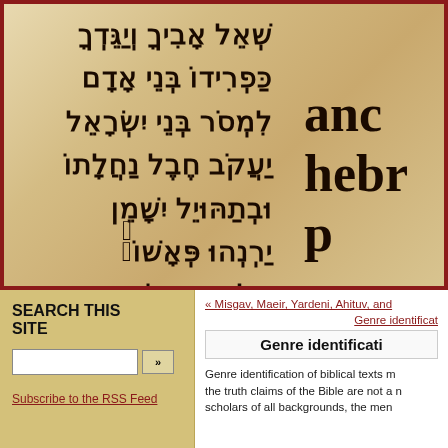[Figure (photo): Close-up photograph of an ancient Hebrew manuscript on parchment, showing Hebrew text in dark ink on aged cream/tan parchment. Partially overlaid with large bold Latin letters spelling 'anc', 'hebr', 'p' on the right side. Image has a dark red border.]
SEARCH THIS SITE
Subscribe to the RSS Feed
« Misgav, Maeir, Yardeni, Ahituv, and ...
Genre identificat...
Genre identificati...
Genre identification of biblical texts m... the truth claims of the Bible are not a n... scholars of all backgrounds, the men...